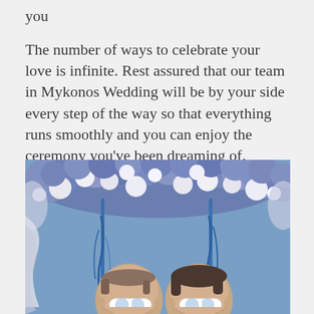you
The number of ways to celebrate your love is infinite. Rest assured that our team in Mykonos Wedding will be by your side every step of the way so that everything runs smoothly and you can enjoy the ceremony you've been dreaming of.
[Figure (photo): Two men wearing white sunglasses standing facing each other under a floral arch decorated with blue and white flowers with blue ribbons hanging down, against a blue sky background.]